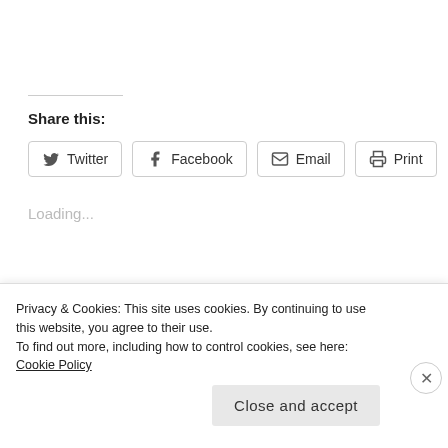Share this:
Twitter  Facebook  Email  Print
Loading...
Related
DOC NYC 2014   BERLINALE 2015
Privacy & Cookies: This site uses cookies. By continuing to use this website, you agree to their use.
To find out more, including how to control cookies, see here: Cookie Policy
Close and accept